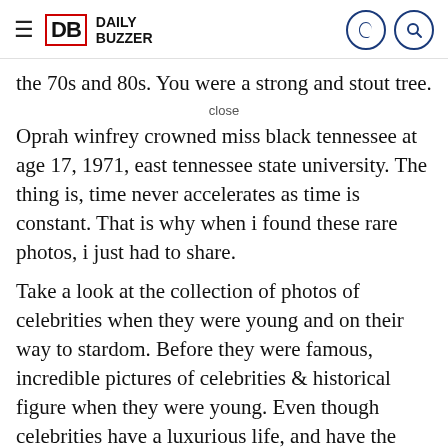Daily Buzzer navigation header
the 70s and 80s. You were a strong and stout tree.
close
Oprah winfrey crowned miss black tennessee at age 17, 1971, east tennessee state university. The thing is, time never accelerates as time is constant. That is why when i found these rare photos, i just had to share.
Take a look at the collection of photos of celebrities when they were young and on their way to stardom. Before they were famous, incredible pictures of celebrities & historical figure when they were young. Even though celebrities have a luxurious life, and have the money to live the lavish lifestyle that they do, many of them didn't have the easiest start in life.